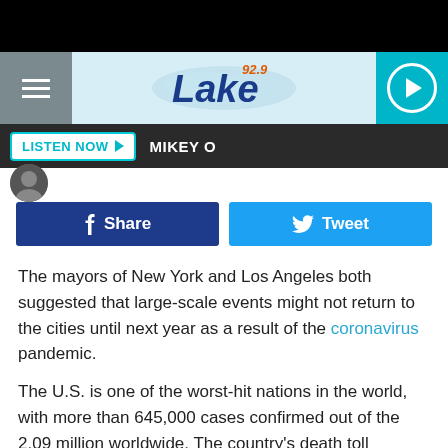[Figure (screenshot): Black top bar of mobile app]
92.9 Lake FM — Listen Now • MIKEY O
The mayors of New York and Los Angeles both suggested that large-scale events might not return to the cities until next year as a result of the coronavirus pandemic.
The U.S. is one of the worst-hit nations in the world, with more than 645,000 cases confirmed out of the 2.09 million worldwide. The country's death toll currently stands at 28,554, with 135,230 across the globe. New York has logged more than 8,000 deaths from 110,000 cases